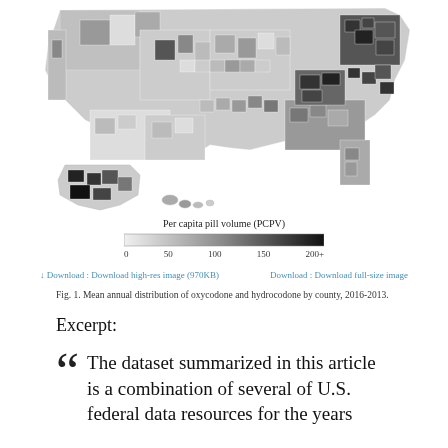[Figure (map): Choropleth map of the United States showing mean annual distribution of oxycodone and hydrocodone by county, 2006-2013, with color scale from white (low) to dark gray/black (high) representing per capita pill volume (PCPV). Includes Alaska and Hawaii insets.]
Fig. 1. Mean annual distribution of oxycodone and hydrocodone by county, 2016-2013.
Excerpt:
The dataset summarized in this article is a combination of several of U.S. federal data resources for the years